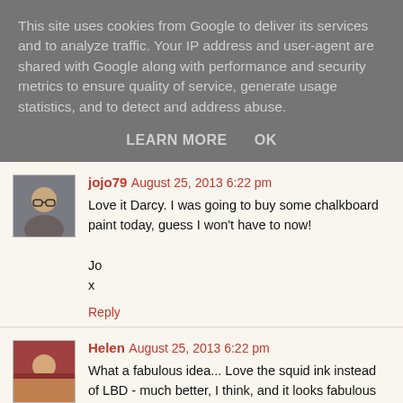This site uses cookies from Google to deliver its services and to analyze traffic. Your IP address and user-agent are shared with Google along with performance and security metrics to ensure quality of service, generate usage statistics, and to detect and address abuse.
LEARN MORE   OK
jojo79  August 25, 2013 6:22 pm
Love it Darcy. I was going to buy some chalkboard paint today, guess I won't have to now!

Jo
x

Reply
Helen  August 25, 2013 6:22 pm
What a fabulous idea... Love the squid ink instead of LBD - much better, I think, and it looks fabulous with those leaves and all those flowers.